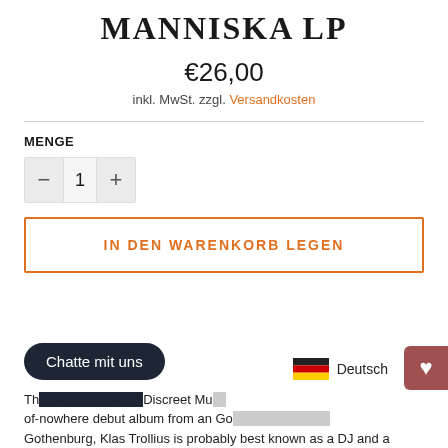MANNISKA LP
€26,00
inkl. MwSt. zzgl. Versandkosten
MENGE
1
IN DEN WARENKORB LEGEN
Chatte mit uns
Deutsch
The ... Discreet Mu... of-nowhere debut album from an Go... Gothenburg, Klas Trollius is probably best known as a DJ and a